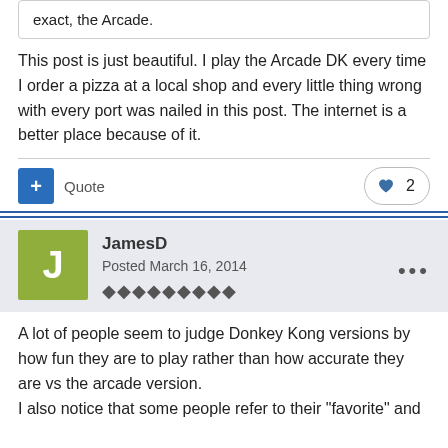exact, the Arcade.
This post is just beautiful. I play the Arcade DK every time I order a pizza at a local shop and every little thing wrong with every port was nailed in this post. The internet is a better place because of it.
+ Quote   ♥ 2
JamesD
Posted March 16, 2014
A lot of people seem to judge Donkey Kong versions by how fun they are to play rather than how accurate they are vs the arcade version.
I also notice that some people refer to their "favorite" and